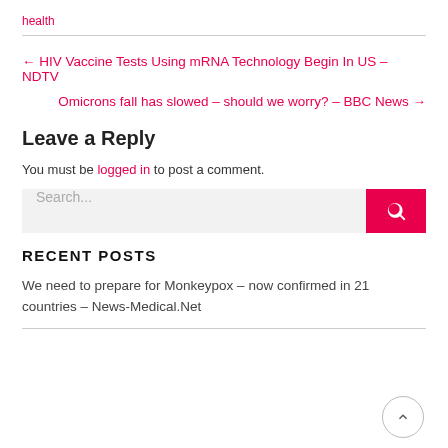health
← HIV Vaccine Tests Using mRNA Technology Begin In US – NDTV
Omicrons fall has slowed – should we worry? – BBC News →
Leave a Reply
You must be logged in to post a comment.
RECENT POSTS
We need to prepare for Monkeypox – now confirmed in 21 countries – News-Medical.Net